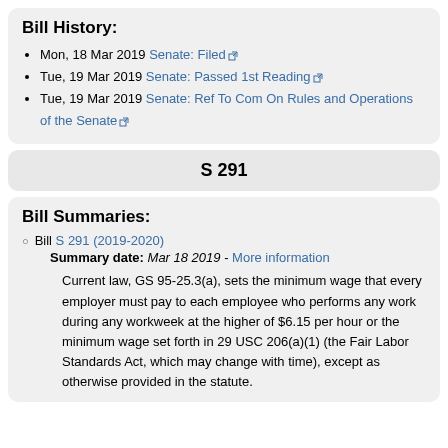Bill History:
Mon, 18 Mar 2019 Senate: Filed
Tue, 19 Mar 2019 Senate: Passed 1st Reading
Tue, 19 Mar 2019 Senate: Ref To Com On Rules and Operations of the Senate
S 291
Bill Summaries:
Bill S 291 (2019-2020) Summary date: Mar 18 2019 - More information
Current law, GS 95-25.3(a), sets the minimum wage that every employer must pay to each employee who performs any work during any workweek at the higher of $6.15 per hour or the minimum wage set forth in 29 USC 206(a)(1) (the Fair Labor Standards Act, which may change with time), except as otherwise provided in the statute.